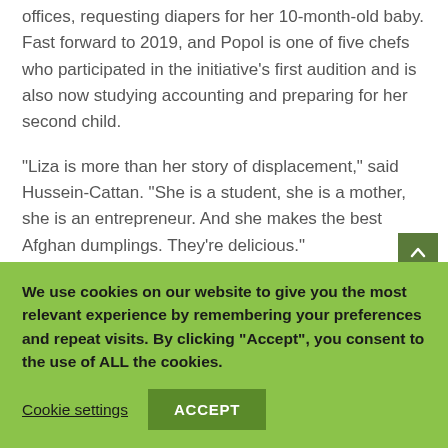offices, requesting diapers for her 10-month-old baby. Fast forward to 2019, and Popol is one of five chefs who participated in the initiative's first audition and is also now studying accounting and preparing for her second child.
“Liza is more than her story of displacement,” said Hussein-Cattan. “She is a student, she is a mother, she is an entrepreneur. And she makes the best Afghan dumplings. They’re delicious.”
Hussein-Cattan’s motivation to change lives through
We use cookies on our website to give you the most relevant experience by remembering your preferences and repeat visits. By clicking “Accept”, you consent to the use of ALL the cookies.